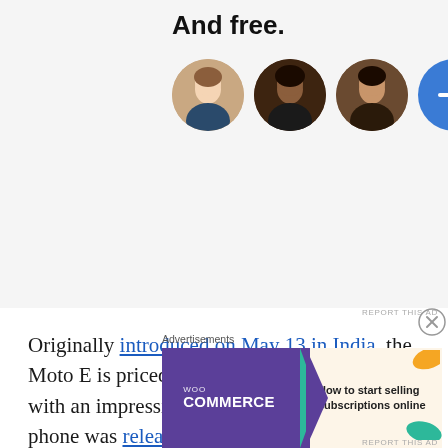[Figure (illustration): Advertisement banner showing 'And free.' text with three person avatar photos and a blue plus button circle on a light gray background]
REPORT THIS AD
Originally introduced on May 13 in India, the Moto E is priced at INR 6,999 and comes with an impressive set of specifications. The phone was released on May 14 in the country via Flipkart but was sold out in just 17 hours. The e-retailer later started accepting reservations for the
Advertisements
[Figure (illustration): WooCommerce advertisement banner: purple left side with WooCommerce logo and arrow, right side with colorful leaf graphics and text 'How to start selling subscriptions online']
REPORT THIS AD